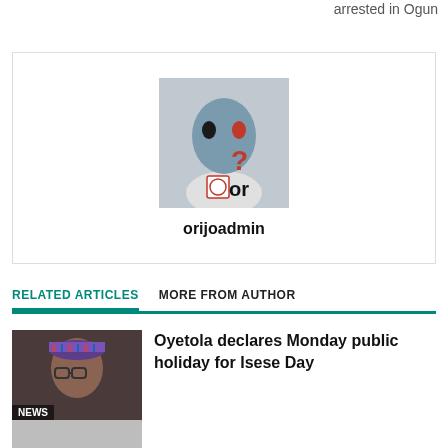arrested in Ogun
[Figure (photo): Author avatar image showing a blue robot face mask overlaid with a question mark and a logo, with a human figure behind]
orijoadmin
RELATED ARTICLES   MORE FROM AUTHOR
[Figure (photo): Thumbnail photo of a person wearing glasses and a patterned hat, with a NEWS badge overlay]
Oyetola declares Monday public holiday for Isese Day
[Figure (photo): Thumbnail image partially visible at bottom of page]